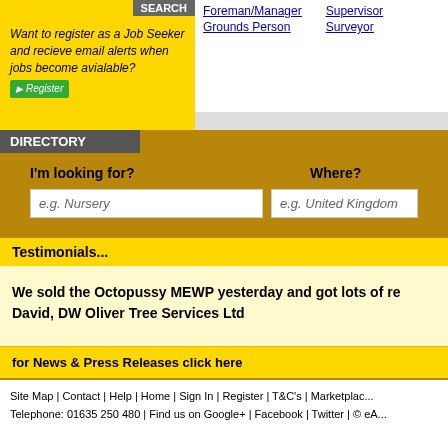SEARCH
Want to register as a Job Seeker and recieve email alerts when jobs become avialable? Register
Foreman/Manager
Grounds Person
Supervisor
Surveyor
DIRECTORY
I'm looking for?
Where?
e.g. Nursery
e.g. United Kingdom
Testimonials...
We sold the Octopussy MEWP yesterday and got lots of re... David, DW Oliver Tree Services Ltd
for News & Press Releases click here
Site Map | Contact | Help | Home | Sign In | Register | T&C's | Marketplac... Telephone: 01635 250 480 | Find us on Google+ | Facebook | Twitter | © eA...